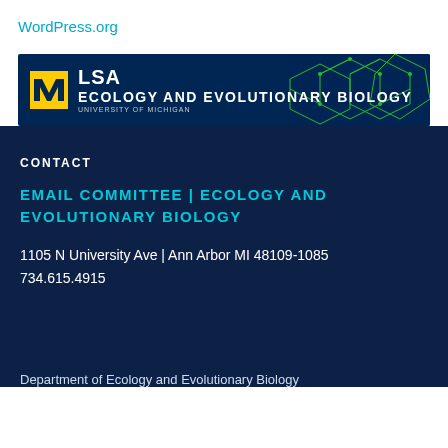WordPress.org
[Figure (logo): LSA Ecology and Evolutionary Biology, University of Michigan banner logo with navy blue background and green geometric pattern on the right]
CONTACT
EMAIL COMMITTEE | ECOLOGY AND EVOLUTIONARY BIOLOGY
1105 N University Ave | Ann Arbor MI 48109-1085
734.615.4915
Department of Ecology and Evolutionary Biology